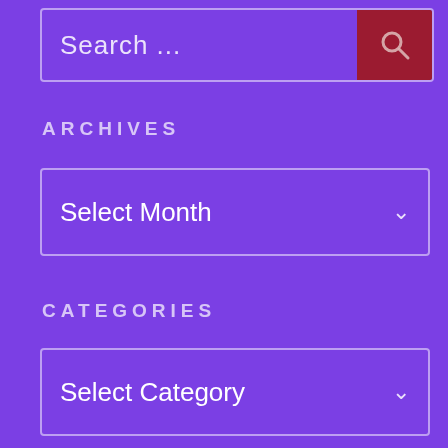Search ...
ARCHIVES
Select Month
CATEGORIES
Select Category